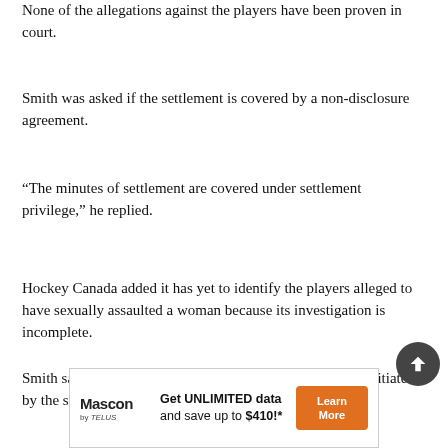None of the allegations against the players have been proven in court.
Smith was asked if the settlement is covered by a non-disclosure agreement.
“The minutes of settlement are covered under settlement privilege,” he replied.
Hockey Canada added it has yet to identify the players alleged to have sexually assaulted a woman because its investigation is incomplete.
Smith said 12 to 13 players took part in the investigation initiated by the sport’s governing body. Renney said earlier
[Figure (other): Scroll-to-top circular button with upward arrow, dark grey background]
[Figure (other): Mascon by TELUS advertisement banner: Get UNLIMITED data and save up to $410!* with Learn More button]